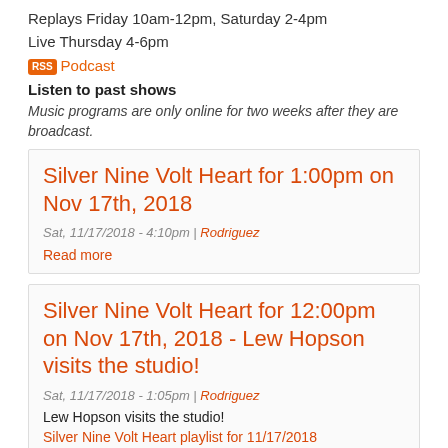Replays Friday 10am-12pm, Saturday 2-4pm
Live Thursday 4-6pm
RSS  Podcast
Listen to past shows
Music programs are only online for two weeks after they are broadcast.
Silver Nine Volt Heart for 1:00pm on Nov 17th, 2018
Sat, 11/17/2018 - 4:10pm | Rodriguez
Read more
Silver Nine Volt Heart for 12:00pm on Nov 17th, 2018 - Lew Hopson visits the studio!
Sat, 11/17/2018 - 1:05pm | Rodriguez
Lew Hopson visits the studio!
Silver Nine Volt Heart playlist for 11/17/2018
Read more
Silver Nine Volt Heart for...